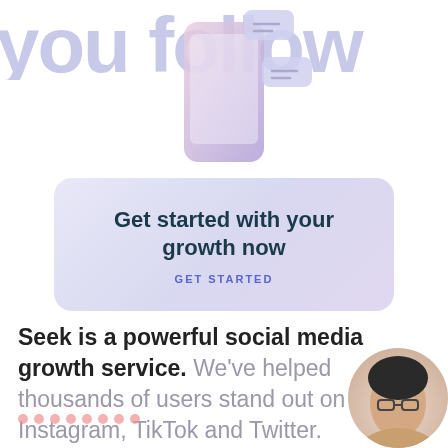[Figure (illustration): Large faded background text reading 'you follow' in light purple/lavender color]
[Figure (illustration): 3D illustration of a pink/purple smartphone with chat bubble icons floating around it]
Get started with your growth now
GET STARTED
Seek is a powerful social media growth service. We've helped thousands of users stand out on Instagram, TikTok and Twitter.
[Figure (illustration): Row of pink/salmon colored dots at bottom left]
[Figure (photo): Circular cropped photo of a person at bottom right corner]